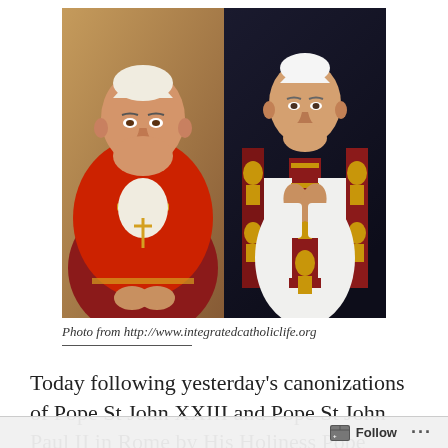[Figure (photo): Two side-by-side photos of popes in papal vestments: left is Pope John XXIII in red and gold robes, right is Pope John Paul II in white and red vestments with hands clasped in prayer.]
Photo from http://www.integratedcatholiclife.org
Today following yesterday's canonizations of Pope St John XXIII and Pope St John Paul II in Rome by His Holiness Pope Francis in the